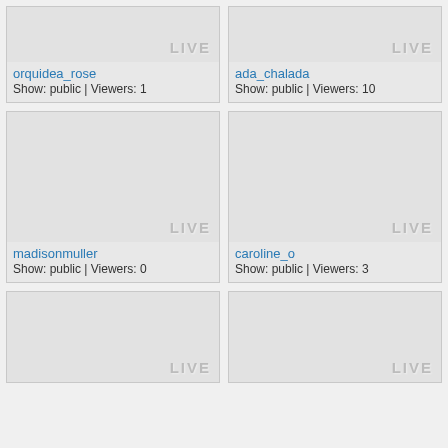[Figure (screenshot): Live stream thumbnail card for orquidea_rose, gray placeholder image with LIVE label]
orquidea_rose
Show: public | Viewers: 1
[Figure (screenshot): Live stream thumbnail card for ada_chalada, gray placeholder image with LIVE label]
ada_chalada
Show: public | Viewers: 10
[Figure (screenshot): Live stream thumbnail card for madisonmuller, gray placeholder image with LIVE label]
madisonmuller
Show: public | Viewers: 0
[Figure (screenshot): Live stream thumbnail card for caroline_o, gray placeholder image with LIVE label]
caroline_o
Show: public | Viewers: 3
[Figure (screenshot): Live stream thumbnail card, gray placeholder image with LIVE label, partially visible]
[Figure (screenshot): Live stream thumbnail card, gray placeholder image with LIVE label, partially visible]